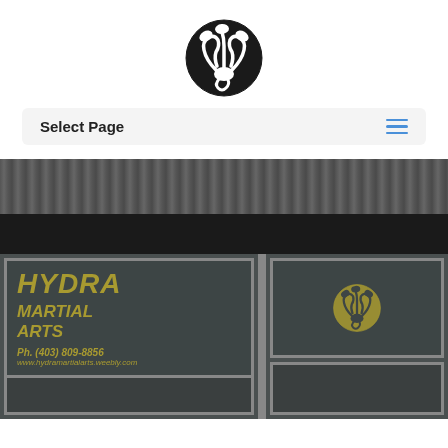[Figure (logo): Hydra Martial Arts circular logo — black circle with three intertwined serpent/hydra heads in white]
Select Page
[Figure (photo): Storefront of Hydra Martial Arts — dark corrugated metal building with large windows displaying text: HYDRA, MARTIAL ARTS, Ph. (403) 809-8856, www.hydramartialarts.weebly.com, and the Hydra logo emblem on the right window panel]